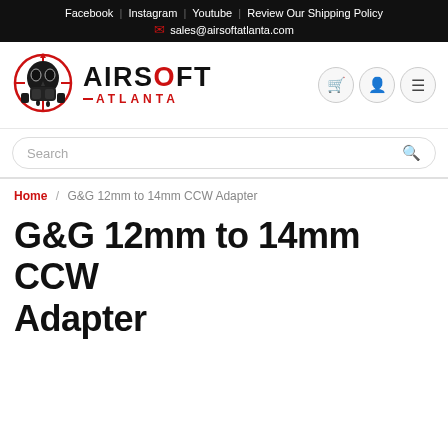Facebook | Instagram | Youtube | Review Our Shipping Policy
✉ sales@airsoftatlanta.com
[Figure (logo): Airsoft Atlanta logo: skull with gas mask and crosshair target circle, with AIRSOFT ATLANTA text]
Search
Home / G&G 12mm to 14mm CCW Adapter
G&G 12mm to 14mm CCW Adapter